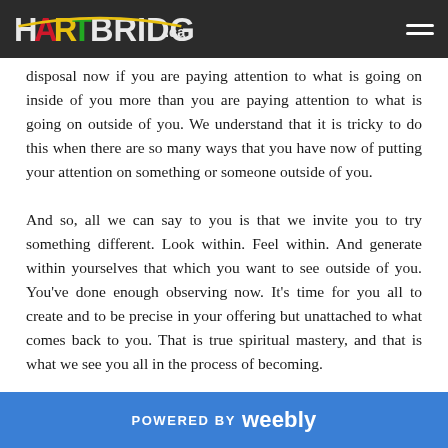HARTBRIDGE.ca
disposal now if you are paying attention to what is going on inside of you more than you are paying attention to what is going on outside of you. We understand that it is tricky to do this when there are so many ways that you have now of putting your attention on something or someone outside of you.
And so, all we can say to you is that we invite you to try something different. Look within. Feel within. And generate within yourselves that which you want to see outside of you. You've done enough observing now. It's time for you all to create and to be precise in your offering but unattached to what comes back to you. That is true spiritual mastery, and that is what we see you all in the process of becoming.
POWERED BY weebly